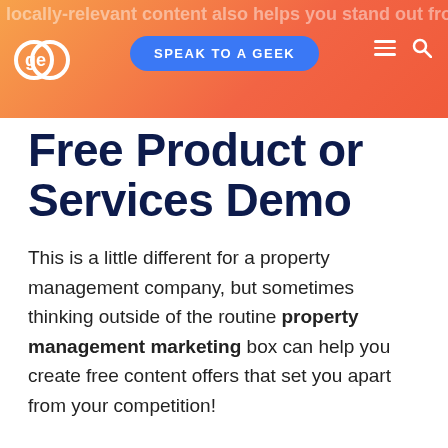locally-relevant content also helps you stand out from the competition
[Figure (logo): GE logo — two overlapping circles forming stylized letters on orange/red background]
SPEAK TO A GEEK
Free Product or Services Demo
This is a little different for a property management company, but sometimes thinking outside of the routine property management marketing box can help you create free content offers that set you apart from your competition!
Consider creating a video or a pdf plan of how your company operates and the services that